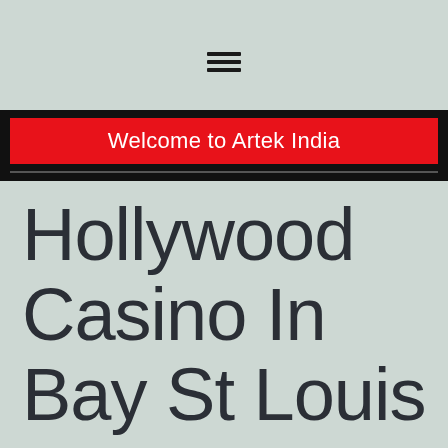[Figure (other): Hamburger menu icon with three horizontal bars]
Welcome to Artek India
Hollywood Casino In Bay St Louis Ms – Most Played